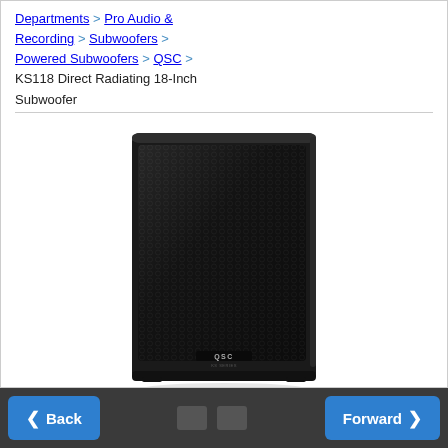Departments > Pro Audio & Recording > Subwoofers > Powered Subwoofers > QSC > KS118 Direct Radiating 18-Inch Subwoofer
[Figure (photo): QSC KS118 Direct Radiating 18-Inch powered subwoofer speaker — black rectangular cabinet with metal mesh grille covering the front, QSC logo at bottom center, shown on white background with slight shadow reflection below.]
Back | Forward